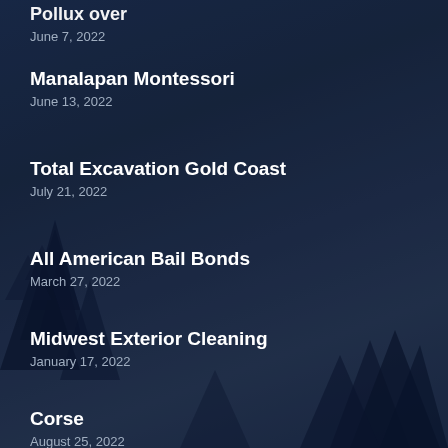Pollux over
June 7, 2022
Manalapan Montessori
June 13, 2022
Total Excavation Gold Coast
July 21, 2022
All American Bail Bonds
March 27, 2022
Midwest Exterior Cleaning
January 17, 2022
Corse
August 25, 2022